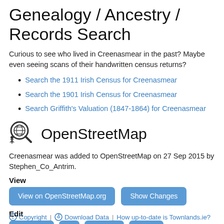Genealogy / Ancestry / Records Search
Curious to see who lived in Creenasmear in the past? Maybe even seeing scans of their handwritten census returns?
Search the 1911 Irish Census for Creenasmear
Search the 1901 Irish Census for Creenasmear
Search Griffith's Valuation (1847-1864) for Creenasmear
OpenStreetMap
Creenasmear was added to OpenStreetMap on 27 Sep 2015 by Stephen_Co_Antrim.
View
View on OpenStreetMap.org | Show Changes
Edit
JOSM | iD | Potlatch | Level0
Copyright | Download Data | How up-to-date is Townlands.ie?